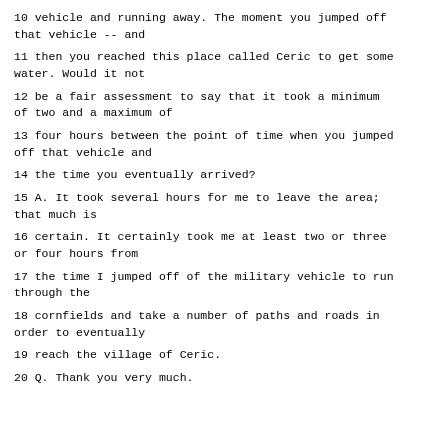10 vehicle and running away. The moment you jumped off that vehicle -- and
11 then you reached this place called Ceric to get some water. Would it not
12 be a fair assessment to say that it took a minimum of two and a maximum of
13 four hours between the point of time when you jumped off that vehicle and
14 the time you eventually arrived?
15 A. It took several hours for me to leave the area; that much is
16 certain. It certainly took me at least two or three or four hours from
17 the time I jumped off of the military vehicle to run through the
18 cornfields and take a number of paths and roads in order to eventually
19 reach the village of Ceric.
20 Q. Thank you very much.